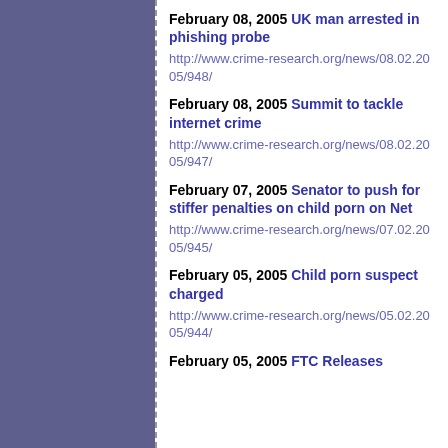February 08, 2005 UK man arrested in phishing probe
http://www.crime-research.org/news/08.02.2005/948/
February 08, 2005 Summit to tackle internet crime
http://www.crime-research.org/news/08.02.2005/947/
February 07, 2005 Senator to push for stiffer penalties on child porn on Net
http://www.crime-research.org/news/07.02.2005/945/
February 05, 2005 Child porn suspect charged
http://www.crime-research.org/news/05.02.2005/944/
February 05, 2005 FTC Releases